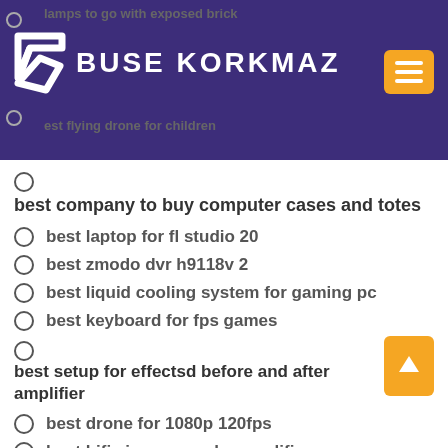BUSE KORKMAZ
best company to buy computer cases and totes
best laptop for fl studio 20
best zmodo dvr h9118v 2
best liquid cooling system for gaming pc
best keyboard for fps games
best setup for effectsd before and after amplifier
best drone for 1080p 120fps
best hifi cinema combo amplifier